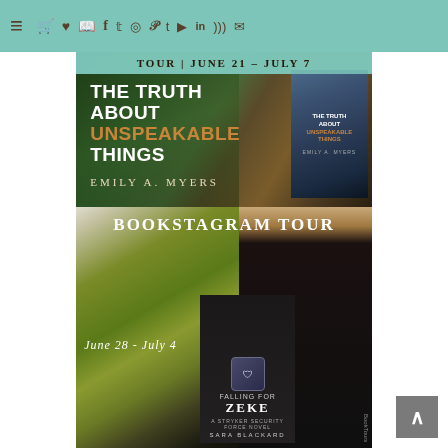Navigation bar with hamburger menu and social media icons (cart, wishlist, book, facebook, twitter, instagram, pinterest, tumblr, youtube, linkedin, rss, email)
[Figure (illustration): Book tour banner for 'The Truth About Unspeakable Things' by Emily A. Myers. Tour dates: June 21 - July 7. Dark moody background with green foliage and wooden door. Book cover thumbnail shown on right side.]
[Figure (illustration): Bookstagram Tour banner for 'Falling for Zeke' by Sara Blackard. Dates: June 28 - July 4. Background shows knitted/crocheted items in yellow-green with a man in dark t-shirt showing book cover.]